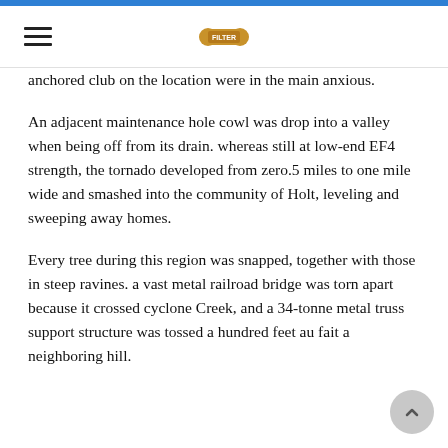anchored club on the location were in the main anxious.
An adjacent maintenance hole cowl was drop into a valley when being off from its drain. whereas still at low-end EF4 strength, the tornado developed from zero.5 miles to one mile wide and smashed into the community of Holt, leveling and sweeping away homes.
Every tree during this region was snapped, together with those in steep ravines. a vast metal railroad bridge was torn apart because it crossed cyclone Creek, and a 34-tonne metal truss support structure was tossed a hundred feet au fait a neighboring hill.